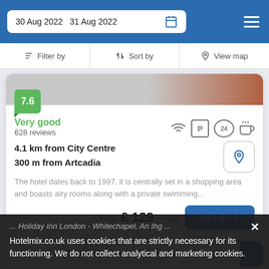30 Aug 2022  31 Aug 2022
Filter by  Sort by  View map
[Figure (screenshot): Hotel room image partially visible at top with orange/red textile in upper right corner and score badge 7.6 in green]
Very good
628 reviews
4.1 km from City Centre
300 m from Artcadia
The hotel dates back to 1997, it is centrally set in a shopping area and boasts airy rooms along with a private swimming...
from £ 129/night
SELECT
... Holiday Inn London - Whitechapel, An Ihg...
Hotelmix.co.uk uses cookies that are strictly necessary for its functioning. We do not collect analytical and marketing cookies.